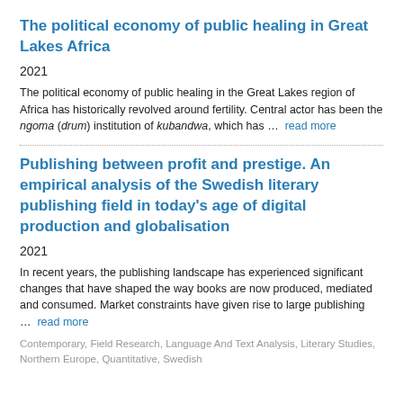The political economy of public healing in Great Lakes Africa
2021
The political economy of public healing in the Great Lakes region of Africa has historically revolved around fertility. Central actor has been the ngoma (drum) institution of kubandwa, which has … read more
Publishing between profit and prestige. An empirical analysis of the Swedish literary publishing field in today's age of digital production and globalisation
2021
In recent years, the publishing landscape has experienced significant changes that have shaped the way books are now produced, mediated and consumed. Market constraints have given rise to large publishing … read more
Contemporary, Field Research, Language And Text Analysis, Literary Studies, Northern Europe, Quantitative, Swedish